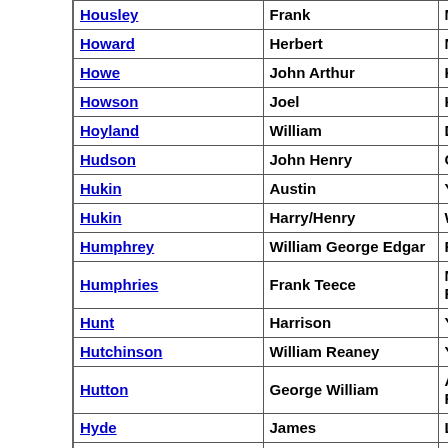| Surname | First Name(s) | Regiment |
| --- | --- | --- |
| Housley | Frank | Manchester Regim... |
| Howard | Herbert | Northumberland Fu... |
| Howe | John Arthur | Kings Own Yorkshi... |
| Howson | Joel | Kings Own Yorkshi... |
| Hoyland | William | Durham Light Infa... |
| Hudson | John Henry | Coldstream Guards... |
| Hukin | Austin | York & Lancs |
| Hukin | Harry/Henry | West Yorkshire Reg... |
| Humphrey | William George Edgar | Royal Field Artillery... |
| Humphries | Frank Teece | Nottinghamshire an... Foresters) |
| Hunt | Harrison | York & Lancs |
| Hutchinson | William Reaney | York & Lancs |
| Hutton | George William | Alexandra Princess... Regiment) |
| Hyde | James | Labour Corps |
| Hyde | James William | Royal Field Artillery... |
| Ibbison | George | West Riding Regim... |
| Ibbotson | Frank | Northumberland Fu... |
| Ibbotson | George | Kings Own Yorkshi... |
| Ibbotson | Sidney | Kings Own Yorkshi... |